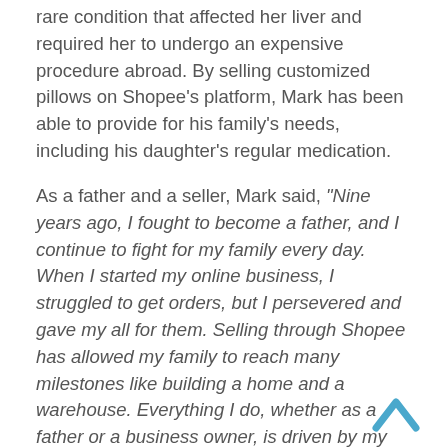rare condition that affected her liver and required her to undergo an expensive procedure abroad. By selling customized pillows on Shopee's platform, Mark has been able to provide for his family's needs, including his daughter's regular medication.
As a father and a seller, Mark said, "Nine years ago, I fought to become a father, and I continue to fight for my family every day. When I started my online business, I struggled to get orders, but I persevered and gave my all for them. Selling through Shopee has allowed my family to reach many milestones like building a home and a warehouse. Everything I do, whether as a father or a business owner, is driven by my love for my wife and daughters. Till today, I continue to give my best every day, not just for my family, but also for my customers."
By embracing their roles as fathers, Martin, Michael, and Mark have come to understand better